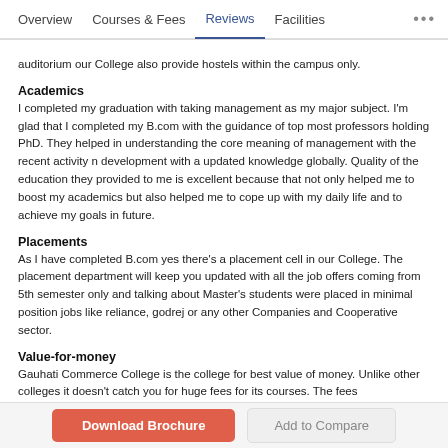Overview | Courses & Fees | Reviews | Facilities | ...
auditorium our College also provide hostels within the campus only.
Academics
I completed my graduation with taking management as my major subject. I'm glad that I completed my B.com with the guidance of top most professors holding PhD. They helped in understanding the core meaning of management with the recent activity n development with a updated knowledge globally. Quality of the education they provided to me is excellent because that not only helped me to boost my academics but also helped me to cope up with my daily life and to achieve my goals in future.
Placements
As I have completed B.com yes there's a placement cell in our College. The placement department will keep you updated with all the job offers coming from 5th semester only and talking about Master's students were placed in minimal position jobs like reliance, godrej or any other Companies and Cooperative sector.
Value-for-money
Gauhati Commerce College is the college for best value of money. Unlike other colleges it doesn't catch you for huge fees for its courses. The fees